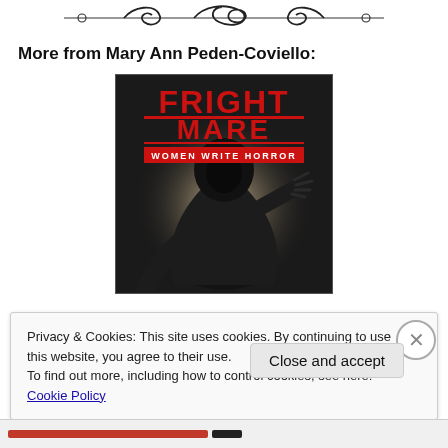[Figure (illustration): Decorative scrollwork divider line]
More from Mary Ann Peden-Coviello:
[Figure (photo): Book cover for Fright Mare: Women Write Horror — dark hooded figure with clawed hand reaching forward on a misty background, title text in red block letters at top]
Privacy & Cookies: This site uses cookies. By continuing to use this website, you agree to their use.
To find out more, including how to control cookies, see here: Cookie Policy
Close and accept